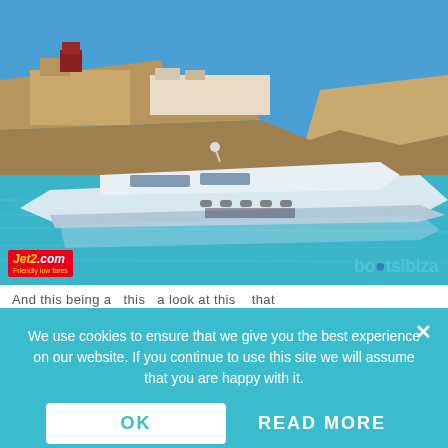[Figure (photo): A white luxury motor yacht sailing on turquoise water near a rocky coastline with a historic hilltop fortress/town (Ibiza old town) in the background under a clear blue sky. Watermarks: 'Jet2.com Friendly low fares' logo bottom-left, 'boatsibiza' logo bottom-right.]
And this being a this a look at this that...
We use cookies to ensure that we give you the best experience on our website. If you continue to use this site we will assume that you are happy with it.
OK
READ MORE